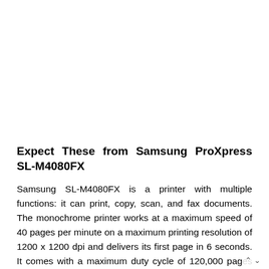Expect These from Samsung ProXpress SL-M4080FX
Samsung SL-M4080FX is a printer with multiple functions: it can print, copy, scan, and fax documents. The monochrome printer works at a maximum speed of 40 pages per minute on a maximum printing resolution of 1200 x 1200 dpi and delivers its first page in 6 seconds. It comes with a maximum duty cycle of 120,000 pages per month. The unit is fitted with a print resolution technology of RoCR. It works with print language